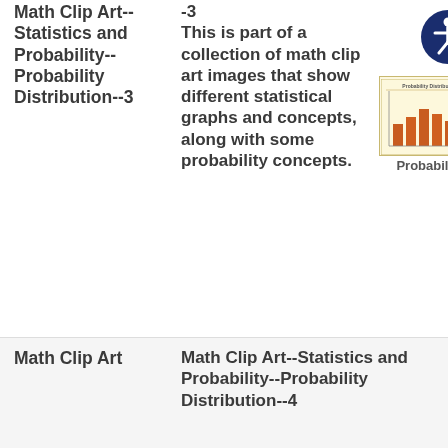Math Clip Art--Statistics and Probability--Probability Distribution--3
-3
This is part of a collection of math clip art images that show different statistical graphs and concepts, along with some probability concepts.
[Figure (illustration): Thumbnail of a probability distribution bar chart with orange bars on a light yellow background, titled 'Probability Distribution']
Probability
[Figure (logo): Accessibility icon: white stick figure in a circle on dark navy blue background]
Math Clip Art
Math Clip Art--Statistics and Probability--Probability Distribution--4